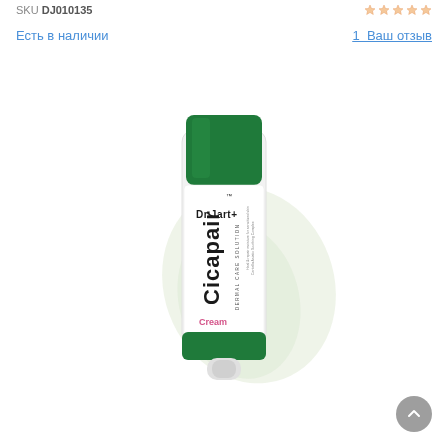SKU DJ010135
Есть в наличии
1  Ваш отзыв
[Figure (photo): Dr.Jart+ Cicapair Cream tube product photo with cream swatch on white background]